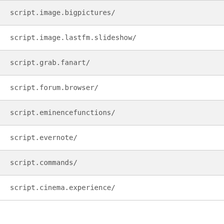| Name |  |
| --- | --- |
| script.image.bigpictures/ | - |
| script.image.lastfm.slideshow/ | - |
| script.grab.fanart/ | - |
| script.forum.browser/ | - |
| script.eminencefunctions/ | - |
| script.evernote/ | - |
| script.commands/ | - |
| script.cinema.experience/ | - |